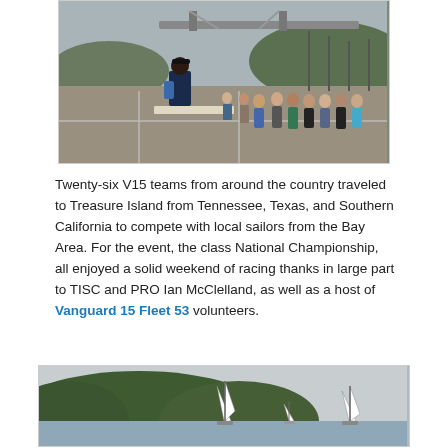[Figure (photo): A person standing at a podium or table addressing a group of sailors gathered on a marina dock, with sailboat masts and a bridge visible in the background.]
Twenty-six V15 teams from around the country traveled to Treasure Island from Tennessee, Texas, and Southern California to compete with local sailors from the Bay Area. For the event, the class National Championship, all enjoyed a solid weekend of racing thanks in large part to TISC and PRO Ian McClelland, as well as a host of Vanguard 15 Fleet 53 volunteers.
[Figure (photo): Sailboats with white sails racing on water with a forested hillside in the background under an overcast sky.]